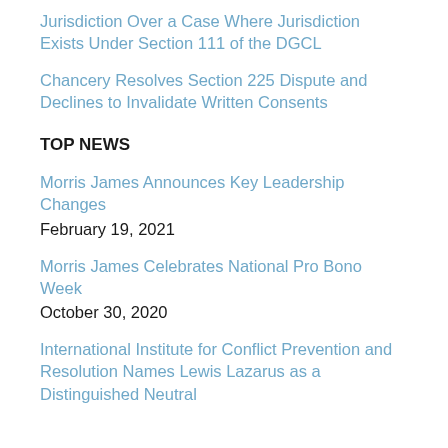Jurisdiction Over a Case Where Jurisdiction Exists Under Section 111 of the DGCL
Chancery Resolves Section 225 Dispute and Declines to Invalidate Written Consents
TOP NEWS
Morris James Announces Key Leadership Changes
February 19, 2021
Morris James Celebrates National Pro Bono Week
October 30, 2020
International Institute for Conflict Prevention and Resolution Names Lewis Lazarus as a Distinguished Neutral